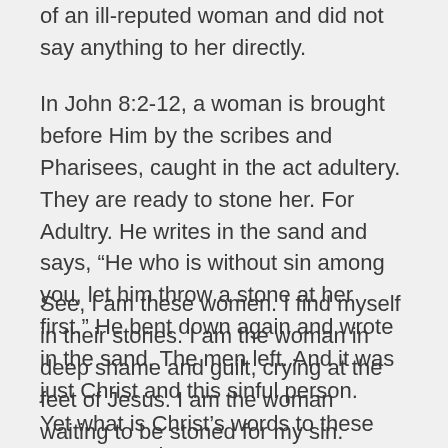of an ill-reputed woman and did not say anything to her directly.
In John 8:2-12, a woman is brought before Him by the scribes and Pharisees, caught in the act adultery.  They are ready to stone her.  For Adultry.  He writes in the sand and says, “He who is without sin among you, let him throw a stone at her first.”  He bent down again and wrote in the sand.  The men left.  And it was just Christ and this sinful person.
See, I am these women.  I find myself in their stories.  I am the woman in deep shame and guilt, crying at the feet of Jesus.  I am the woman waiting to be stoned for my sin.
Yet what is Christ’s words to these women.  Go in peace,